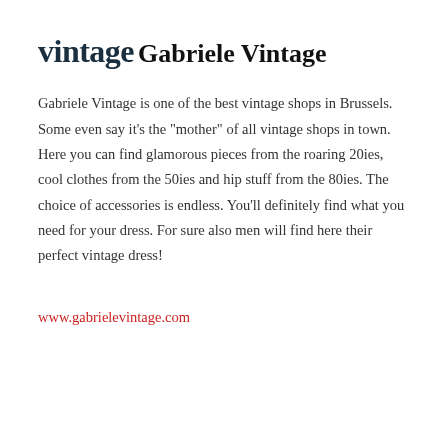vintage
Gabriele Vintage
Gabriele Vintage is one of the best vintage shops in Brussels. Some even say it’s the “mother” of all vintage shops in town. Here you can find glamorous pieces from the roaring 20ies, cool clothes from the 50ies and hip stuff from the 80ies. The choice of accessories is endless. You’ll definitely find what you need for your dress. For sure also men will find here their perfect vintage dress!
www.gabrielevintage.com